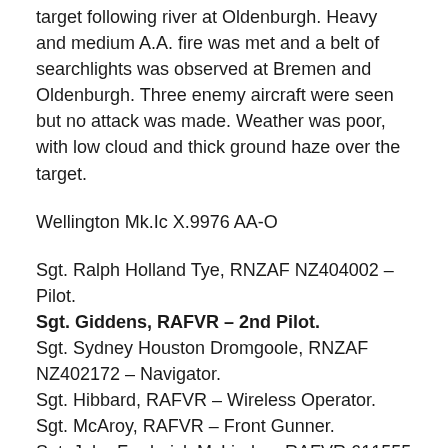target following river at Oldenburgh. Heavy and medium A.A. fire was met and a belt of searchlights was observed at Bremen and Oldenburgh. Three enemy aircraft were seen but no attack was made. Weather was poor, with low cloud and thick ground haze over the target.
Wellington Mk.Ic X.9976 AA-O
Sgt. Ralph Holland Tye, RNZAF NZ404002 – Pilot.
Sgt. Giddens, RAFVR – 2nd Pilot.
Sgt. Sydney Houston Dromgoole, RNZAF NZ402172 – Navigator.
Sgt. Hibbard, RAFVR – Wireless Operator.
Sgt. McAroy, RAFVR – Front Gunner.
Sgt. John Frederick McLinden, RAFVR 611555 – Rear Gunner.
Take Off 18:35 – Landed 01:35